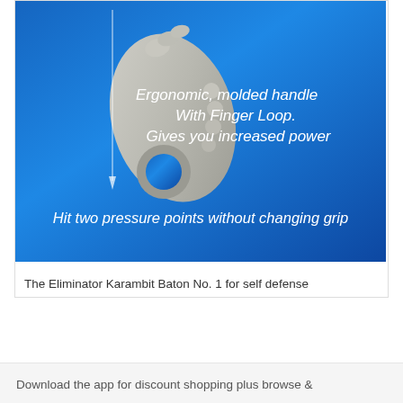[Figure (photo): Product image of the Eliminator Karambit Baton No. 1 — a grey ergonomic molded handle with finger loop on a blue gradient background. White text overlays read: 'Ergonomic, molded handle With Finger Loop. Gives you increased power' (top right area) and 'Hit two pressure points without changing grip' (bottom). A thin line with an arrow points down along the left side of the handle.]
The Eliminator Karambit Baton No. 1 for self defense
Download the app for discount shopping plus browse &